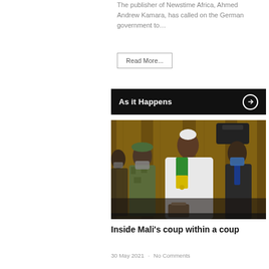The publisher of Newstime Africa, Ahmed Andrew Kamara, has called on the German government to…
Read More...
As it Happens
[Figure (photo): A man in a white robe with a green and yellow sash stands among others including a soldier in camouflage and a man in a suit with a blue mask, in what appears to be an official ceremony in Mali.]
Inside Mali's coup within a coup
30 May 2021 · No Comments